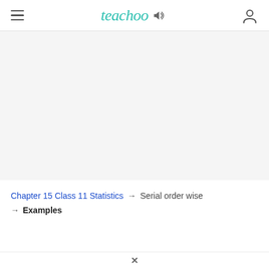teachoo
[Figure (other): Advertisement/blank gray area placeholder]
Chapter 15 Class 11 Statistics → Serial order wise
→ Examples